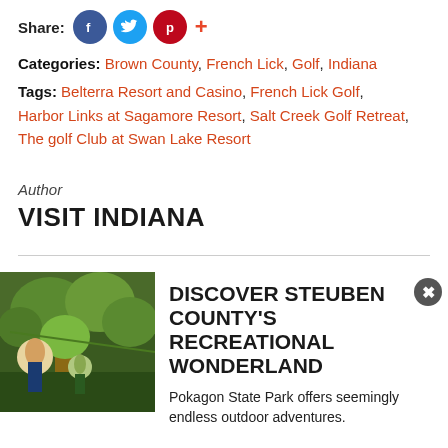Share: [facebook] [twitter] [pinterest] +
Categories: Brown County, French Lick, Golf, Indiana
Tags: Belterra Resort and Casino, French Lick Golf, Harbor Links at Sagamore Resort, Salt Creek Golf Retreat, The golf Club at Swan Lake Resort
Author
VISIT INDIANA
DISCOVER STEUBEN COUNTY'S RECREATIONAL WONDERLAND
Pokagon State Park offers seemingly endless outdoor adventures.